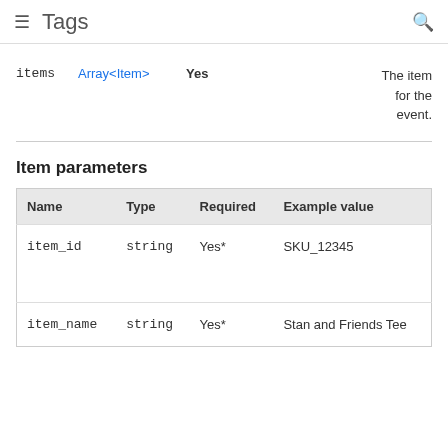Tags
| Name | Type | Required | Description |
| --- | --- | --- | --- |
| items | Array<Item> | Yes | The item for the event. |
Item parameters
| Name | Type | Required | Example value |
| --- | --- | --- | --- |
| item_id | string | Yes* | SKU_12345 |
| item_name | string | Yes* | Stan and Friends Tee |